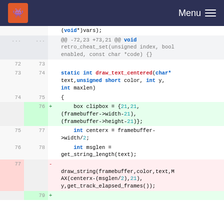Menu
[Figure (screenshot): Code diff view showing changes to draw_text_centered function in C source code, with line numbers, added lines highlighted green, removed lines highlighted red, and a hunk header.]